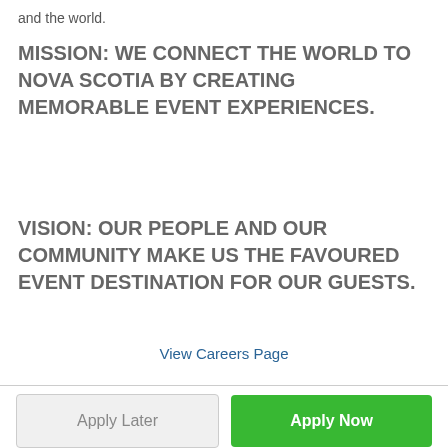and the world.
MISSION: WE CONNECT THE WORLD TO NOVA SCOTIA BY CREATING MEMORABLE EVENT EXPERIENCES.
VISION: OUR PEOPLE AND OUR COMMUNITY MAKE US THE FAVOURED EVENT DESTINATION FOR OUR GUESTS.
View Careers Page
Apply Later
Apply Now